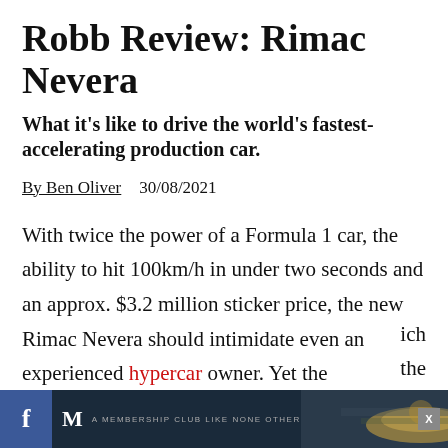Robb Review: Rimac Nevera
What it's like to drive the world's fastest-accelerating production car.
By Ben Oliver   30/08/2021
With twice the power of a Formula 1 car, the ability to hit 100km/h in under two seconds and an approx. $3.2 million sticker price, the new Rimac Nevera should intimidate even an experienced hypercar owner. Yet the automaker's 33-year-old founder, Mate Rimac, intended his masterpiece to be...
[Figure (other): Bottom advertisement bar showing Facebook icon, M membership club logo and advertisement image with close button]